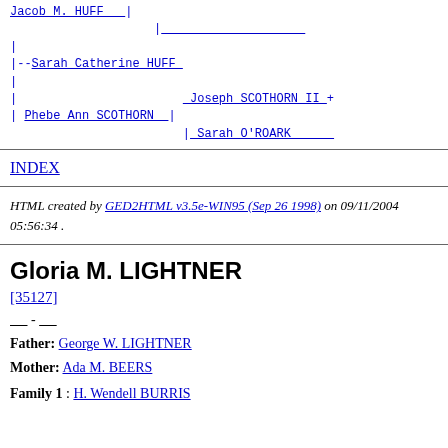[Figure (other): Genealogical tree diagram showing family relationships: Jacob M. HUFF at top, Sarah Catherine HUFF as child, Phebe Ann SCOTHORN with parents Joseph SCOTHORN II + and Sarah O'ROARK]
INDEX
HTML created by GED2HTML v3.5e-WIN95 (Sep 26 1998) on 09/11/2004 05:56:34 .
Gloria M. LIGHTNER
[35127]
____ - ____
Father: George W. LIGHTNER
Mother: Ada M. BEERS
Family 1 : H. Wendell BURRIS